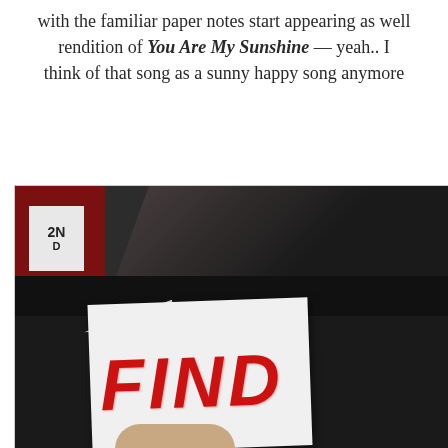with the familiar paper notes start appearing as well rendition of You Are My Sunshine — yeah.. I think of that song as a sunny happy song anymore
[Figure (photo): A close-up photo of a white paper note with the word 'FIND' written in red block letters, held by a hand, placed on a dark table surface with a red box visible in the background.]